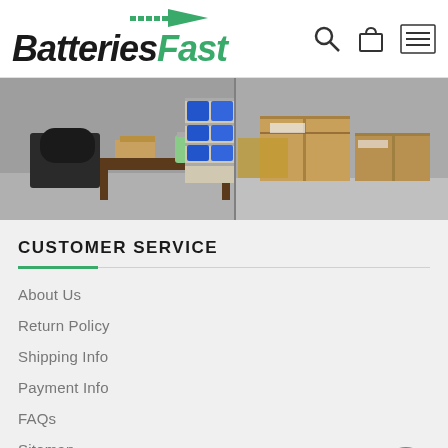BatteriesFast
[Figure (photo): Warehouse interior showing shelves with blue storage bins on the left and cardboard boxes stacked on the right]
CUSTOMER SERVICE
About Us
Return Policy
Shipping Info
Payment Info
FAQs
Sitemap